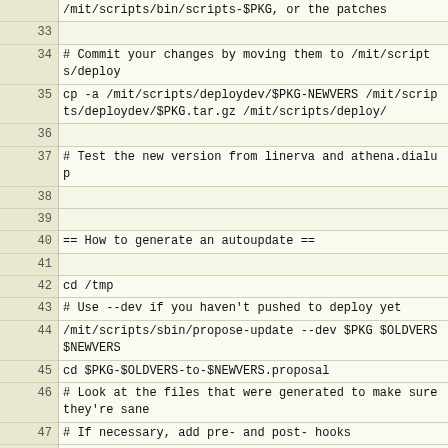Code listing lines 33-56 showing shell script commands for MIT scripts deployment and autoupdate generation
| line | code |
| --- | --- |
|  | /mit/scripts/bin/scripts-$PKG, or the patches |
| 33 |  |
| 34 | # Commit your changes by moving them to /mit/scripts/deploy |
| 35 | cp -a /mit/scripts/deploydev/$PKG-NEWVERS /mit/scripts/deploydev/$PKG.tar.gz /mit/scripts/deploy/ |
| 36 |  |
| 37 | # Test the new version from linerva and athena.dialup |
| 38 |  |
| 39 |  |
| 40 | == How to generate an autoupdate == |
| 41 |  |
| 42 | cd /tmp |
| 43 | # Use --dev if you haven't pushed to deploy yet |
| 44 | /mit/scripts/sbin/propose-update --dev $PKG $OLDVERS $NEWVERS |
| 45 | cd $PKG-$OLDVERS-to-$NEWVERS.proposal |
| 46 | # Look at the files that were generated to make sure they're sane |
| 47 | # If necessary, add pre- and post- hooks |
| 48 | emacs extra/prepatch.sh |
| 49 | emacs extra/postpatch.sh |
| 50 | # Generate the patch |
| 51 | # --dev here means to put the update in /mit/scripts/deploydev/updates |
| 52 | /mit/scripts/sbin/build-update --dev $PKG $OLDVERS $NEWVERS |
| 53 | # Test the update by running cd /mit/foo/web_scripts/bar && /mit/scripts/deploydev/updates/$PKG-#OLDVERS-to-$NEWVERS/update |
| 54 |  |
| 55 | # If necessary, repeat this process. You can edit the files in the |
| 56 | # $PKG-$OLDVERS and $PKG-$NEWVERS subdirectories of the |